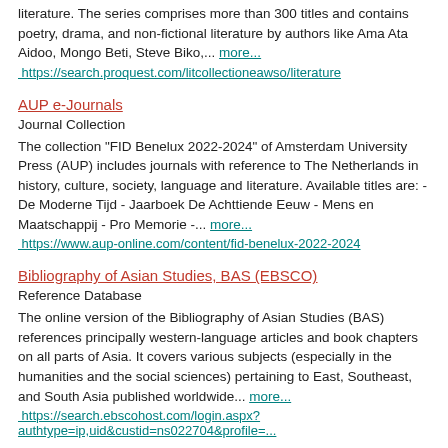literature. The series comprises more than 300 titles and contains poetry, drama, and non-fictional literature by authors like Ama Ata Aidoo, Mongo Beti, Steve Biko,... more... https://search.proquest.com/litcollectioneawso/literature
AUP e-Journals
Journal Collection
The collection "FID Benelux 2022-2024" of Amsterdam University Press (AUP) includes journals with reference to The Netherlands in history, culture, society, language and literature. Available titles are: - De Moderne Tijd - Jaarboek De Achttiende Eeuw - Mens en Maatschappij - Pro Memorie -... more... https://www.aup-online.com/content/fid-benelux-2022-2024
Bibliography of Asian Studies, BAS (EBSCO)
Reference Database
The online version of the Bibliography of Asian Studies (BAS) references principally western-language articles and book chapters on all parts of Asia. It covers various subjects (especially in the humanities and the social sciences) pertaining to East, Southeast, and South Asia published worldwide... more... https://search.ebscohost.com/login.aspx?authtype=ip,uid&custid=ns022704&profile=...